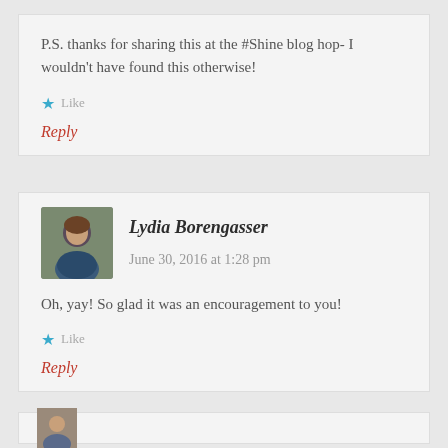P.S. thanks for sharing this at the #Shine blog hop- I wouldn't have found this otherwise!
Like
Reply
Lydia Borengasser  June 30, 2016 at 1:28 pm
Oh, yay! So glad it was an encouragement to you!
Like
Reply